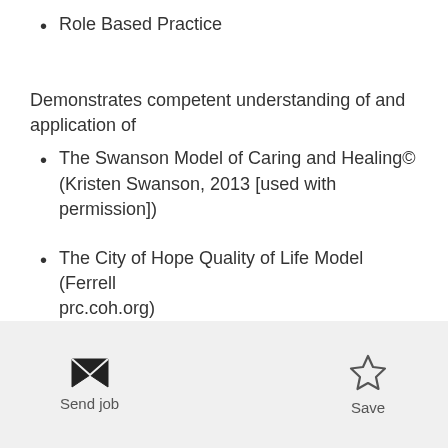Role Based Practice
Demonstrates competent understanding of and application of
The Swanson Model of Caring and Healing© (Kristen Swanson, 2013 [used with permission])
The City of Hope Quality of Life Model (Ferrell prc.coh.org)
Demonstrates competent application of the nursing process according to the Role Based Practice model:
Send job    Save